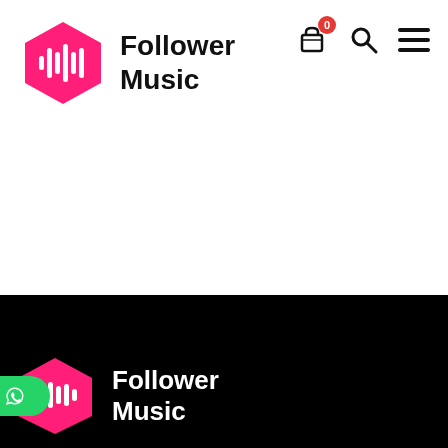[Figure (logo): Follower Music logo with pink hexagon containing white sound wave bars and text 'Follower Music' in bold black]
[Figure (other): Navigation icons: shopping cart with red badge showing 0, search magnifying glass, hamburger menu]
[Figure (logo): Follower Music logo on black background with pink hexagon, WhatsApp green button overlay, and white text 'Follower Music']